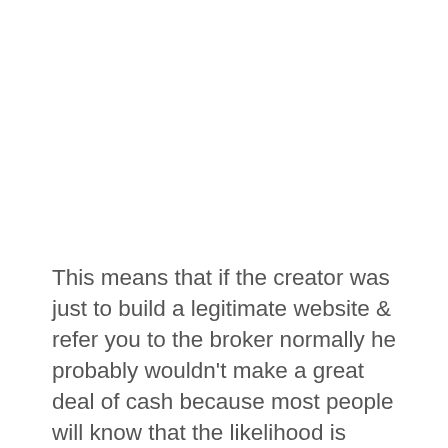This means that if the creator was just to build a legitimate website & refer you to the broker normally he probably wouldn't make a great deal of cash because most people will know that the likelihood is they'll lose the money they trade with.